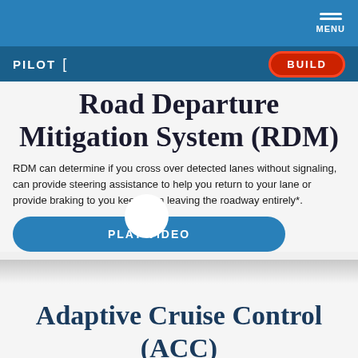MENU
PILOT   BUILD
Road Departure Mitigation System (RDM)
RDM can determine if you cross over detected lanes without signaling, can provide steering assistance to help you return to your lane or provide braking to you keep from leaving the roadway entirely*.
[Figure (other): PLAY VIDEO button with circular play icon overlay]
Adaptive Cruise Control (ACC)